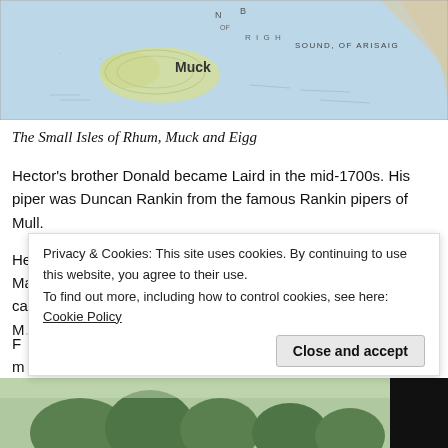[Figure (map): A historical map showing the Small Isles of Rhum, Muck and Eigg, with 'Muck' labeled prominently and 'SOUND OF ARISAIG' visible on the right side.]
The Small Isles of Rhum, Muck and Eigg
Hector’s brother Donald became Laird in the mid-1700s. His piper was Duncan Rankin from the famous Rankin pipers of Mull.
He lived on Muck with his wife Bess MacCrimmon and son Malcolm. The Mull – Skye piping connection was thus being carried on as Bess MaCrimmon was a daughter of the famous M...
Privacy & Cookies: This site uses cookies. By continuing to use this website, you agree to their use.
To find out more, including how to control cookies, see here: Cookie Policy
[Figure (photo): Partial bottom photo showing trees/foliage against a light background, with a black rectangle on the right.]